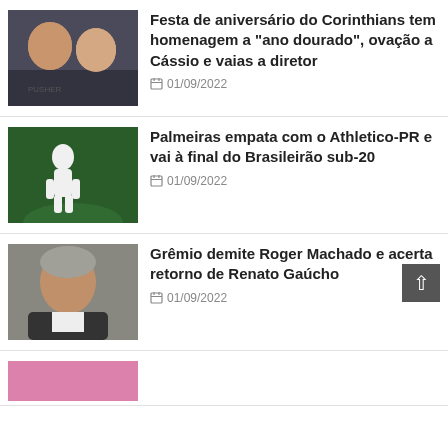[Figure (photo): Two people smiling together in a dark setting]
Festa de aniversário do Corinthians tem homenagem a "ano dourado", ovação a Cássio e vaias a diretor
01/09/2022
[Figure (photo): Soccer player in white uniform on green field, head down]
Palmeiras empata com o Athletico-PR e vai à final do Brasileirão sub-20
01/09/2022
[Figure (photo): Older man with grey hair in dark jacket]
Grêmio demite Roger Machado e acerta retorno de Renato Gaúcho
01/09/2022
[Figure (photo): Partial image with pink/purple tones, partially visible]